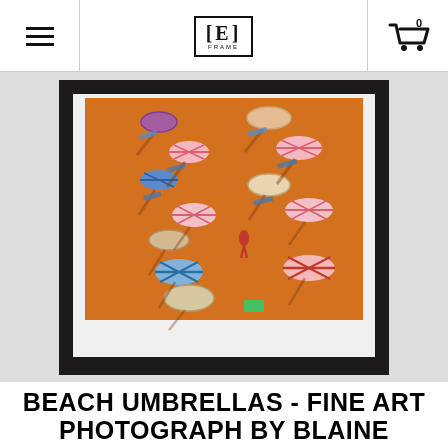Navigation bar with hamburger menu, E|FRAME logo, and shopping cart (0 items)
[Figure (photo): Aerial photograph of a crowded beach with rows of colorful umbrellas (striped pink/white, blue/white, plain beige) casting shadows on orange/golden sand, displayed in a dark frame with white mat.]
BEACH UMBRELLAS - FINE ART PHOTOGRAPH BY BLAINE HARRINGTON - FRAMED WALL ART